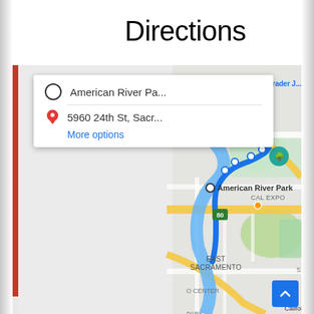Directions
[Figure (map): Google Maps showing directions from American River Park to 5960 24th St, Sacramento, with a blue route highlighted, passing through Cal Expo and East Sacramento areas. Shows Trader Joe's, Air Trampoline Adventure Park, and California State University Sacramento landmarks.]
American River Pa...
5960 24th St, Sacr...
More options